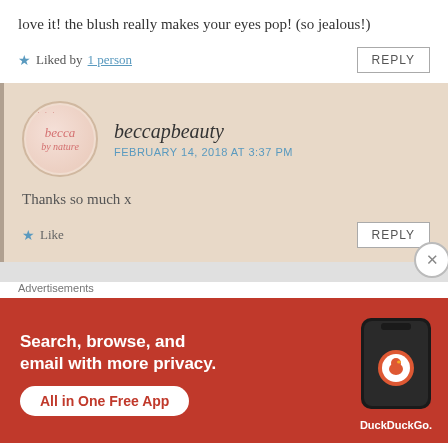love it! the blush really makes your eyes pop! (so jealous!)
★ Liked by 1 person   REPLY
beccapbeauty
FEBRUARY 14, 2018 AT 3:37 PM
Thanks so much x
★ Like   REPLY
Advertisements
[Figure (screenshot): DuckDuckGo advertisement banner with orange-red background. Text: 'Search, browse, and email with more privacy. All in One Free App'. Shows a phone with DuckDuckGo logo and 'DuckDuckGo.' branding.]